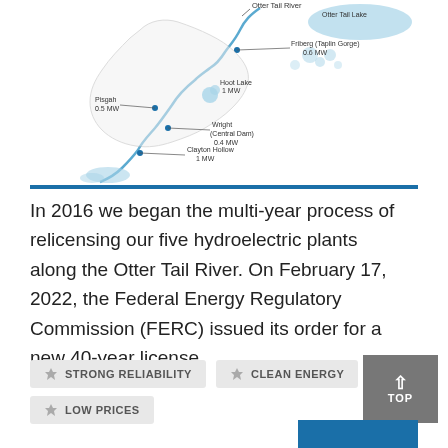[Figure (map): Map of Otter Tail River hydroelectric plants including Otter Tail Lake, Friberg (Taplin Gorge) 0.6 MW, Hoot Lake 1 MW, Pisgah 0.5 MW, Wright (Central Dam) 0.4 MW, Clayton Hollow 1 MW]
In 2016 we began the multi-year process of relicensing our five hydroelectric plants along the Otter Tail River. On February 17, 2022, the Federal Energy Regulatory Commission (FERC) issued its order for a new 40-year license.
STRONG RELIABILITY
CLEAN ENERGY
LOW PRICES